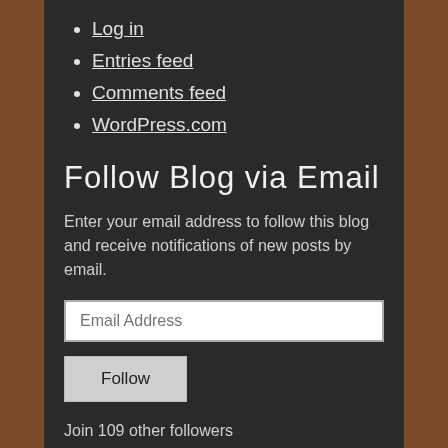Log in
Entries feed
Comments feed
WordPress.com
Follow Blog via Email
Enter your email address to follow this blog and receive notifications of new posts by email.
Email Address
Follow
Join 109 other followers